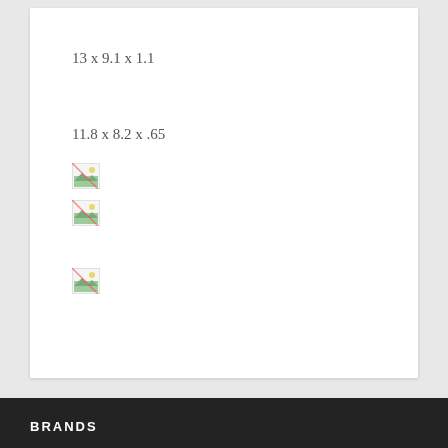13 x 9.1 x 1.1
11.8 x 8.2 x .65
[Figure (photo): Broken image placeholder icon 1]
[Figure (photo): Broken image placeholder icon 2]
[Figure (photo): Broken image placeholder icon 3]
BRANDS